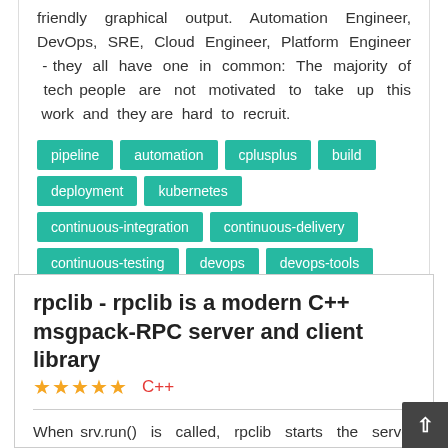friendly graphical output. Automation Engineer, DevOps, SRE, Cloud Engineer, Platform Engineer - they all have one in common: The majority of tech people are not motivated to take up this work and they are hard to recruit.
pipeline
automation
cplusplus
build
deployment
kubernetes
continuous-integration
continuous-delivery
continuous-testing
devops
devops-tools
rpclib - rpclib is a modern C++ msgpack-RPC server and client library
★★★★★  C++
When srv.run() is called, rpclib starts the server loop, which listens to incoming connections and tries to dispatch the bound functions. The functi...